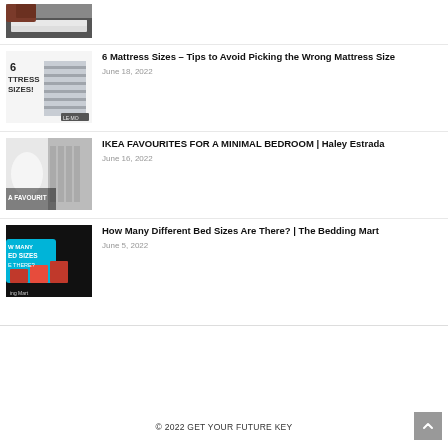[Figure (photo): Thumbnail image of a mattress being handled, partially cropped at top]
6 Mattress Sizes – Tips to Avoid Picking the Wrong Mattress Size
June 18, 2022
IKEA FAVOURITES FOR A MINIMAL BEDROOM | Haley Estrada
June 16, 2022
How Many Different Bed Sizes Are There? | The Bedding Mart
June 5, 2022
© 2022 GET YOUR FUTURE KEY